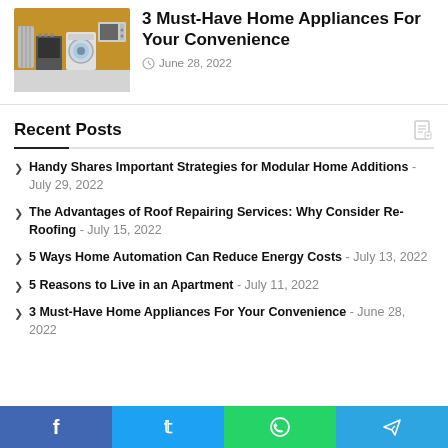[Figure (photo): Photo of home appliances including microwave, washing machine, stove, and radiator against an orange wall]
3 Must-Have Home Appliances For Your Convenience
June 28, 2022
Recent Posts
Handy Shares Important Strategies for Modular Home Additions - July 29, 2022
The Advantages of Roof Repairing Services: Why Consider Re-Roofing - July 15, 2022
5 Ways Home Automation Can Reduce Energy Costs - July 13, 2022
5 Reasons to Live in an Apartment - July 11, 2022
3 Must-Have Home Appliances For Your Convenience - June 28, 2022